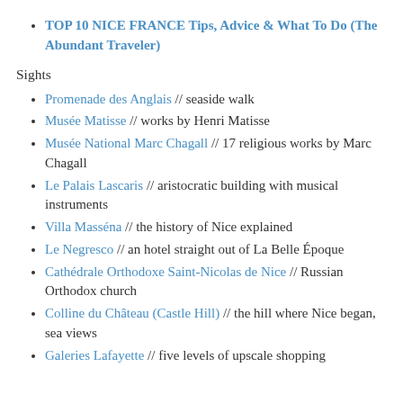TOP 10 NICE FRANCE Tips, Advice & What To Do (The Abundant Traveler)
Sights
Promenade des Anglais // seaside walk
Musée Matisse // works by Henri Matisse
Musée National Marc Chagall // 17 religious works by Marc Chagall
Le Palais Lascaris // aristocratic building with musical instruments
Villa Masséna // the history of Nice explained
Le Negresco // an hotel straight out of La Belle Époque
Cathédrale Orthodoxe Saint-Nicolas de Nice // Russian Orthodox church
Colline du Château (Castle Hill) // the hill where Nice began, sea views
Galeries Lafayette // five levels of upscale shopping